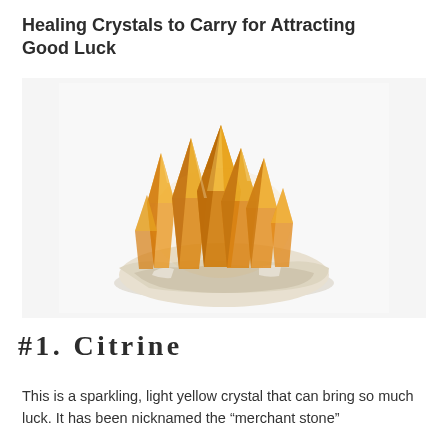Healing Crystals to Carry for Attracting Good Luck
[Figure (photo): A cluster of citrine crystals with golden-orange transparent points growing from a white/cream matrix base, photographed on a white background.]
#1. Citrine
This is a sparkling, light yellow crystal that can bring so much luck. It has been nicknamed the “merchant stone”